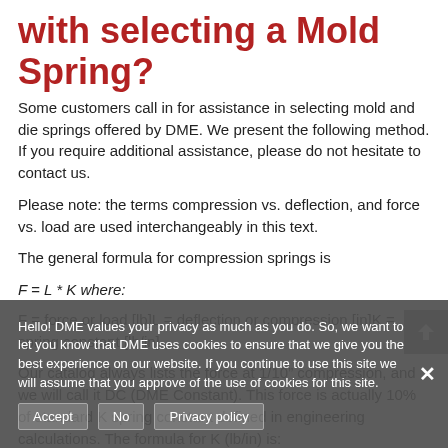with selecting a Mold Spring?
Some customers call in for assistance in selecting mold and die springs offered by DME. We present the following method. If you require additional assistance, please do not hesitate to contact us.
Please note: the terms compression vs. deflection, and force vs. load are used interchangeably in this text.
The general formula for compression springs is
F = force or load [lb]L = deflection or compression [in]K = spring constant [lb/in]
Our catalog always lists the force at 1/10" compression, and we will call it DC (DME Constant). This force is actually 10% of standard K spring constant defined in engineering calculations. The formula for K (lb/in) is:
The DME catalog also lists the force at maximum allowable compression. The maximum compression is given as the percentage of the Free Length, although the length adjustments...